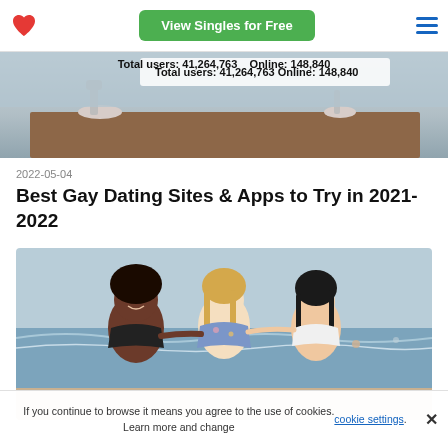View Singles for Free
[Figure (photo): Partial photo of people at a dining table, showing a banner with 'Total users: 41,264,763  Online: 148,840']
Total users: 41,264,763   Online: 148,840
2022-05-04
Best Gay Dating Sites & Apps to Try in 2021-2022
[Figure (photo): Three women laughing and walking together on a beach, arms linked, wearing swimwear]
If you continue to browse it means you agree to the use of cookies. Learn more and change cookie settings.